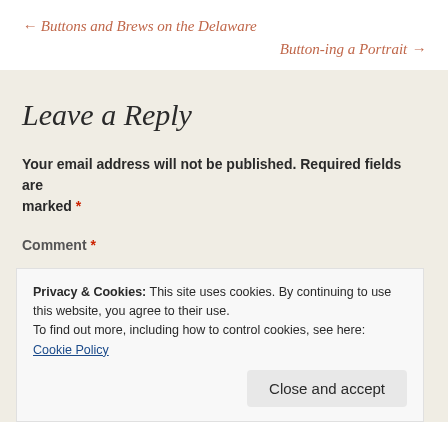← Buttons and Brews on the Delaware
Button-ing a Portrait →
Leave a Reply
Your email address will not be published. Required fields are marked *
Comment *
Privacy & Cookies: This site uses cookies. By continuing to use this website, you agree to their use. To find out more, including how to control cookies, see here: Cookie Policy
Close and accept